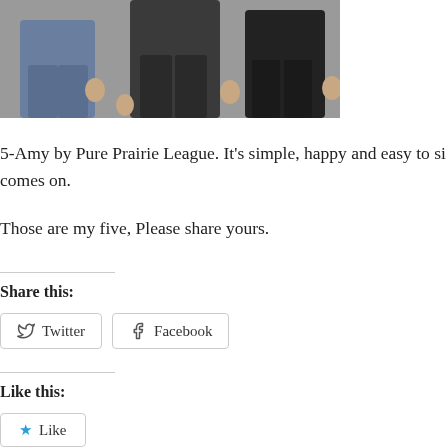[Figure (photo): Cropped photo of people standing together, showing lower bodies/legs, cut off at top]
5-Amy by Pure Prairie League. It's simple, happy and easy to si... comes on.
Those are my five, Please share yours.
Share this:
[Figure (screenshot): Twitter and Facebook sharing buttons]
Like this:
[Figure (screenshot): Like button with star icon]
Be the first to like this.
This entry was posted in Uncategorized and tagged Aliens, Arizona State Uni... Pure Prairie League, Rolling Stones, Sweetwater, The Association, The Beac...